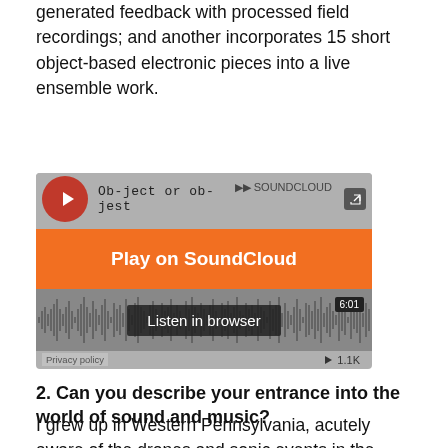generated feedback with processed field recordings; and another incorporates 15 short object-based electronic pieces into a live ensemble work.
[Figure (screenshot): SoundCloud embedded player for 'Ob-ject or ob-jest' showing an orange Play on SoundCloud button, waveform visualization, Listen in browser button, duration 6:01, and 1.1K plays count.]
2. Can you describe your entrance into the world of sound and music?
I grew up in Western Pennsylvania, acutely aware of the drones and sonic events in the surrounding rural landscape. At the same time my early experience of sound through...